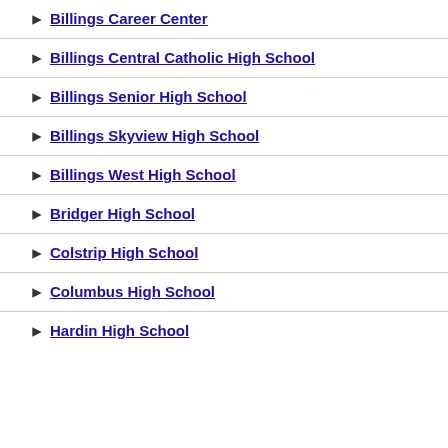Billings Career Center
Billings Central Catholic High School
Billings Senior High School
Billings Skyview High School
Billings West High School
Bridger High School
Colstrip High School
Columbus High School
Hardin High School